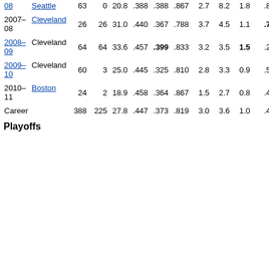| Season | Team | G | GS | MPG | FG% | 3P% | FT% | RPG | APG | SPG | BPG | PPG |
| --- | --- | --- | --- | --- | --- | --- | --- | --- | --- | --- | --- | --- |
| 2007–08 | Seattle | 63 | 0 | 20.8 | .388 | .388 | .867 | 2.7 | 8.2 | 1.8 | .8 | 8.8 |
| 2007–08 | Cleveland | 26 | 26 | 31.0 | .440 | .367 | .788 | 3.7 | 4.5 | 1.1 | .7 | 10.3 |
| 2008–09 | Cleveland | 64 | 64 | 33.6 | .457 | .399 | .833 | 3.2 | 3.5 | 1.5 | .2 | 11.7 |
| 2009–10 | Cleveland | 60 | 3 | 25.0 | .445 | .325 | .810 | 2.8 | 3.3 | 0.9 | .5 | 8.8 |
| 2010–11 | Boston | 24 | 2 | 18.9 | .458 | .364 | .867 | 1.5 | 2.7 | 0.8 | .4 | 5.6 |
| Career |  | 388 | 225 | 27.8 | .447 | .373 | .819 | 3.0 | 3.6 | 1.0 | .4 | 9.7 |
Playoffs